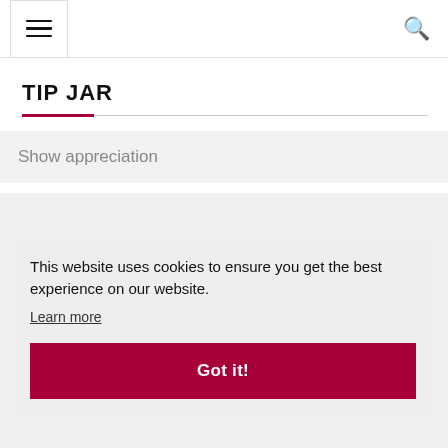Menu | Search
TIP JAR
Show appreciation
This website uses cookies to ensure you get the best experience on our website.
Learn more
Got it!